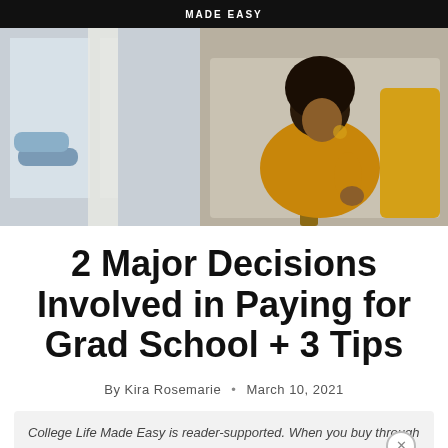MADE EASY
[Figure (photo): A woman wearing a yellow sweater sits relaxed in a wooden chair, eyes closed, in a bright interior room. Another person's legs are visible resting on a windowsill on the left side.]
2 Major Decisions Involved in Paying for Grad School + 3 Tips
By Kira Rosemarie • March 10, 2021
College Life Made Easy is reader-supported. When you buy through links on our site, we may earn an affiliate commission. Learn more.